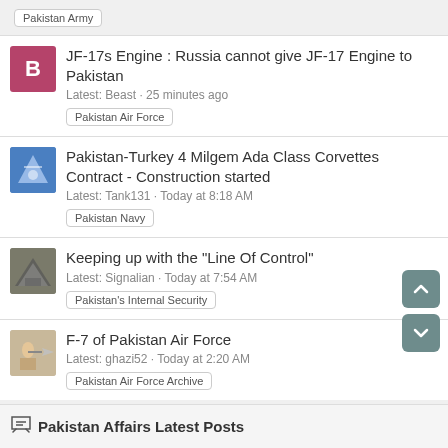Pakistan Army
JF-17s Engine : Russia cannot give JF-17 Engine to Pakistan
Latest: Beast · 25 minutes ago
Pakistan Air Force
Pakistan-Turkey 4 Milgem Ada Class Corvettes Contract - Construction started
Latest: Tank131 · Today at 8:18 AM
Pakistan Navy
Keeping up with the "Line Of Control"
Latest: Signalian · Today at 7:54 AM
Pakistan's Internal Security
F-7 of Pakistan Air Force
Latest: ghazi52 · Today at 2:20 AM
Pakistan Air Force Archive
Pakistan Affairs Latest Posts